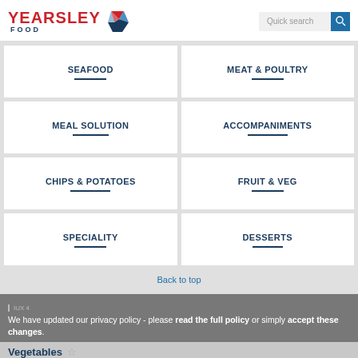[Figure (logo): Yearsley Food logo with red YEARSLEY text and blue FOOD text, with diamond/chevron graphic in red and blue]
[Figure (other): Quick search input field with blue search button]
SEAFOOD
MEAT & POULTRY
MEAL SOLUTION
ACCOMPANIMENTS
CHIPS & POTATOES
FRUIT & VEG
SPECIALITY
DESSERTS
Back to top
IUX 4
We have updated our privacy policy - please read the full policy or simply accept these changes.
Vegetables